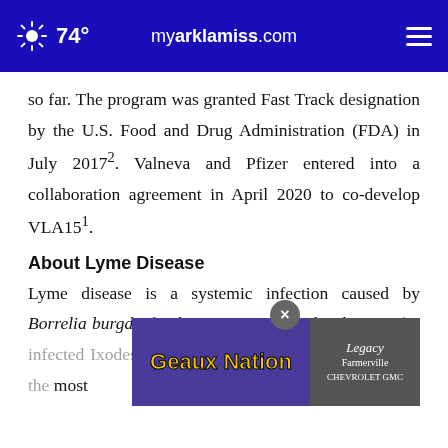74° myarklamiss.com
so far. The program was granted Fast Track designation by the U.S. Food and Drug Administration (FDA) in July 2017². Valneva and Pfizer entered into a collaboration agreement in April 2020 to co-develop VLA15¹.
About Lyme Disease
Lyme disease is a systemic infection caused by Borrelia burgdorferi bacteria transmitted to humans by infected Ixodes (deer or black-legged) ticks, which are the most
[Figure (other): Advertisement overlay showing 'Geaux Nation' text with LSU background and Legacy Farmerville GMC logo, with a close (×) button]